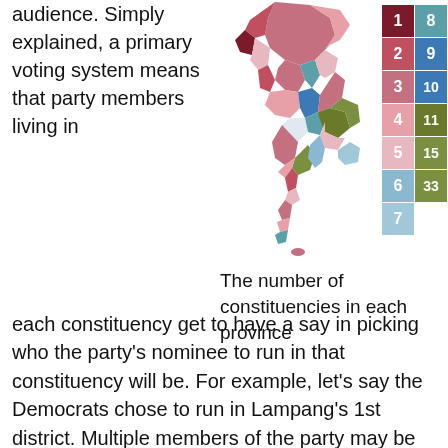audience. Simply explained, a primary voting system means that party members living in
[Figure (map): Choropleth map of Thailand showing the number of constituencies in each province, colored by count. A legend on the right side shows colors corresponding to constituency counts: 1, 2, 3, 4, 5, 6, 7 (left column in dark red/pink/light tones) and 8, 9, 10, 11, 15, 33 (right column in teal/blue/olive/green tones).]
The number of constituencies in each province
each constituency get to have a say in picking who the party's nominee to run in that constituency will be. For example, let’s say the Democrats chose to run in Lampang’s 1st district. Multiple members of the party may be interested